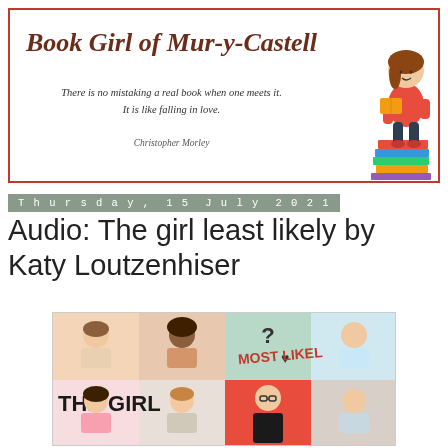[Figure (illustration): Book Girl of Mur-y-Castell blog header banner with red border, blog title in italic brown font, quote about books, and cartoon illustration of a girl reading while sitting on a stack of books]
Thursday, 15 July 2021
Audio: The girl least likely by Katy Loutzenhiser
[Figure (photo): Book cover of 'The Girl Most Likely' showing illustrated character portraits in a grid layout with pastel colors]